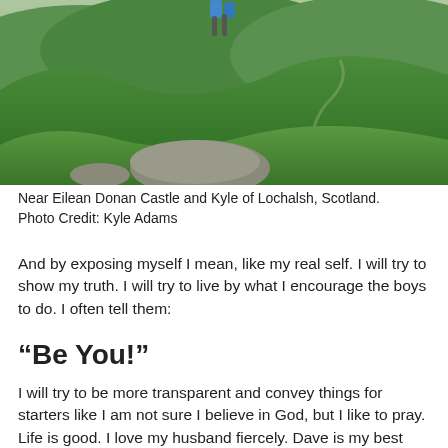[Figure (photo): Person jumping over rocks in a green Scottish highland landscape with rolling hills, a winding road, and blue sky. Near Eilean Donan Castle and Kyle of Lochalsh, Scotland.]
Near Eilean Donan Castle and Kyle of Lochalsh, Scotland. Photo Credit: Kyle Adams
And by exposing myself I mean, like my real self. I will try to show my truth. I will try to live by what I encourage the boys to do. I often tell them:
“Be You!”
I will try to be more transparent and convey things for starters like I am not sure I believe in God, but I like to pray. Life is good. I love my husband fiercely. Dave is my best friend. I force him to go on walks with me daily and I long for our daily walks. Even though I love to be married and married to him, sometimes I get caught off guard with the occasional and totally odd crush (current crush: Jemaine Clement). Then